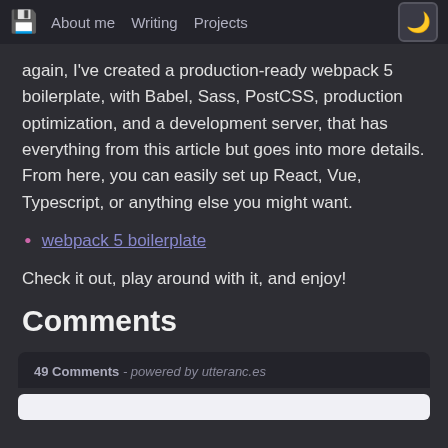🖫  About me   Writing   Projects   🌙
again, I've created a production-ready webpack 5 boilerplate, with Babel, Sass, PostCSS, production optimization, and a development server, that has everything from this article but goes into more details. From here, you can easily set up React, Vue, Typescript, or anything else you might want.
webpack 5 boilerplate
Check it out, play around with it, and enjoy!
Comments
49 Comments - powered by utteranc.es